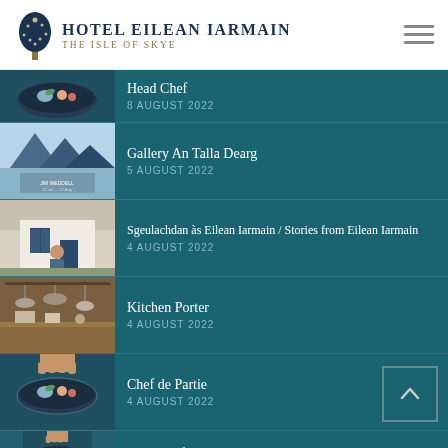[Figure (logo): Hotel Eilean Iarmain logo with tree illustration and text 'Hotel Eilean Iarmain, The Isle of Skye']
Head Chef
8 AUGUST 2022
Gallery An Talla Dearg
5 AUGUST 2022
Sgeulachdan às Eilean Iarmain / Stories from Eilean Iarmain
4 AUGUST 2022
Kitchen Porter
4 AUGUST 2022
Chef de Partie
4 AUGUST 2022
Sous Chef